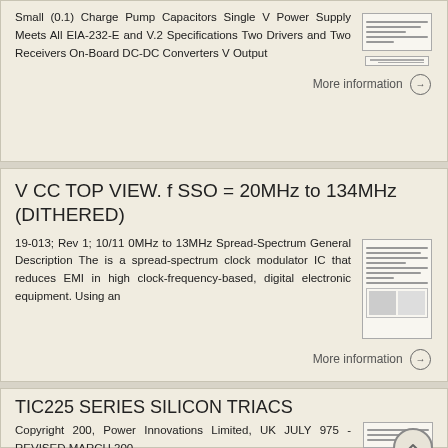Small (0.1) Charge Pump Capacitors Single V Power Supply Meets All EIA-232-E and V.2 Specifications Two Drivers and Two Receivers On-Board DC-DC Converters V Output
More information →
V CC TOP VIEW. f SSO = 20MHz to 134MHz (DITHERED)
19-013; Rev 1; 10/11 0MHz to 13MHz Spread-Spectrum General Description The is a spread-spectrum clock modulator IC that reduces EMI in high clock-frequency-based, digital electronic equipment. Using an
More information →
TIC225 SERIES SILICON TRIACS
Copyright 200, Power Innovations Limited, UK JULY 975 - REVISED MARCH 200